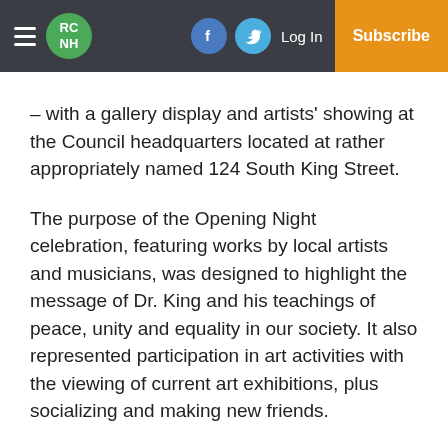RCNH | Log In | Subscribe
– with a gallery display and artists' showing at the Council headquarters located at rather appropriately named 124 South King Street.
The purpose of the Opening Night celebration, featuring works by local artists and musicians, was designed to highlight the message of Dr. King and his teachings of peace, unity and equality in our society. It also represented participation in art activities with the viewing of current art exhibitions, plus socializing and making new friends.